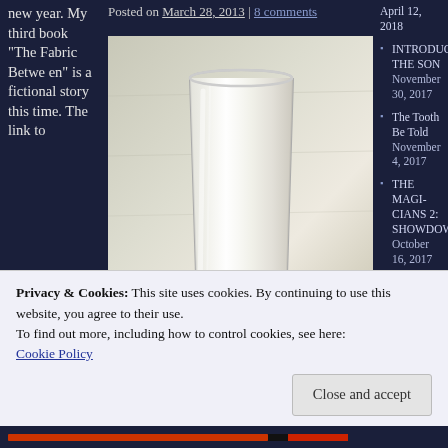new year. My third book "The Fabric Between" is a fictional story this time. The link to
Posted on March 28, 2013 | 8 comments
[Figure (photo): A glass of white milk on a light gray background]
April 12, 2018
INTRODUCI THE SON November 30, 2017
The Tooth Be Told November 4, 2017
THE MAGI-CIANS 2: SHOWDOW October 16, 2017
Privacy & Cookies: This site uses cookies. By continuing to use this website, you agree to their use.
To find out more, including how to control cookies, see here: Cookie Policy
Close and accept